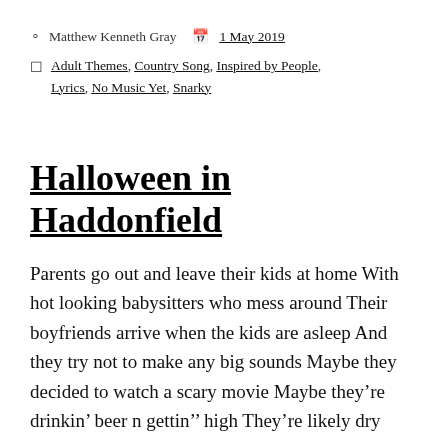Matthew Kenneth Gray   1 May 2019
Adult Themes, Country Song, Inspired by People, Lyrics, No Music Yet, Snarky
Halloween in Haddonfield
Parents go out and leave their kids at home With hot looking babysitters who mess around Their boyfriends arrive when the kids are asleep And they try not to make any big sounds Maybe they decided to watch a scary movie Maybe they're drinkin' beer n gettin'' high They're likely dry